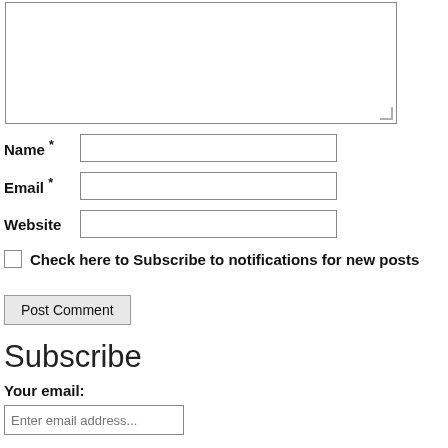[Figure (other): Textarea input box for comment, partially visible at top of page]
Name *
Email *
Website
Check here to Subscribe to notifications for new posts
Post Comment
Subscribe
Your email:
Enter email address...
Subscribe
Unsubscribe